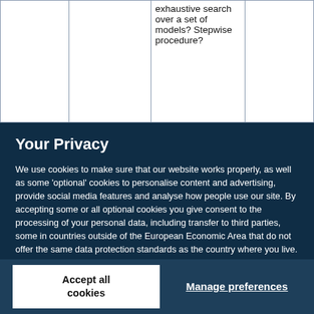|  |  |  |  |
| --- | --- | --- | --- |
|  |  | exhaustive search over a set of models? Stepwise procedure? |  |  |
Your Privacy
We use cookies to make sure that our website works properly, as well as some 'optional' cookies to personalise content and advertising, provide social media features and analyse how people use our site. By accepting some or all optional cookies you give consent to the processing of your personal data, including transfer to third parties, some in countries outside of the European Economic Area that do not offer the same data protection standards as the country where you live. You can decide which optional cookies to accept by clicking on 'Manage Settings', where you can also find more information about how your personal data is processed. Further information can be found in our privacy policy.
Accept all cookies
Manage preferences